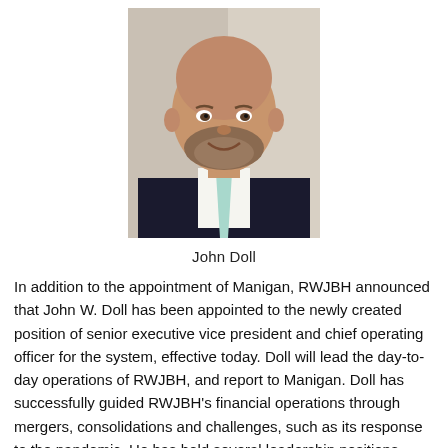[Figure (photo): Headshot of John Doll, a bald man with a beard wearing a dark suit and light blue tie, smiling against a blurred background.]
John Doll
In addition to the appointment of Manigan, RWJBH announced that John W. Doll has been appointed to the newly created position of senior executive vice president and chief operating officer for the system, effective today. Doll will lead the day-to-day operations of RWJBH, and report to Manigan. Doll has successfully guided RWJBH's financial operations through mergers, consolidations and challenges, such as its response to the pandemic. He has held several leadership positions within the system, including chief